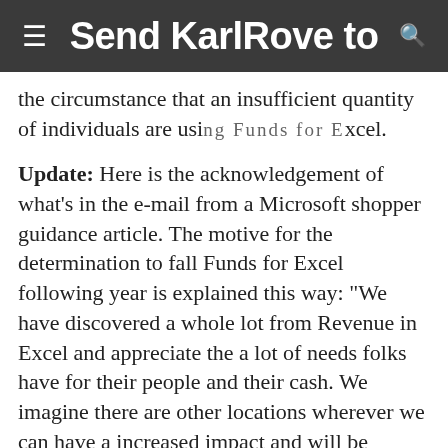Send KarlRove to
the circumstance that an insufficient quantity of individuals are using Funds for Excel.
Update: Here is the acknowledgement of what’s in the e-mail from a Microsoft shopper guidance article. The motive for the determination to fall Funds for Excel following year is explained this way: “We have discovered a whole lot from Revenue in Excel and appreciate the a lot of needs folks have for their people and their cash. We imagine there are other locations wherever we can have a increased impact and will be concentrating on people heading forward.”
Cash in Excel is a template and add-in for Excel element makes it possible for users to hook up their